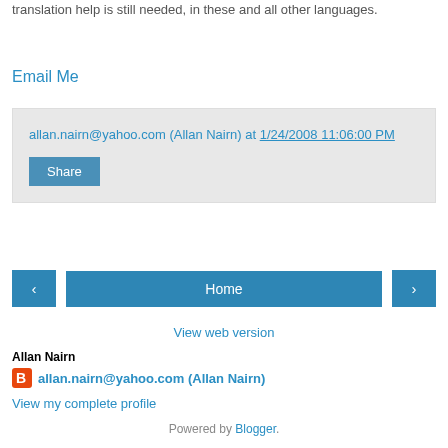translation help is still needed, in these and all other languages.
Email Me
allan.nairn@yahoo.com (Allan Nairn) at 1/24/2008 11:06:00 PM
Share
[Figure (other): Navigation buttons: left arrow, Home, right arrow]
View web version
Allan Nairn
allan.nairn@yahoo.com (Allan Nairn)
View my complete profile
Powered by Blogger.